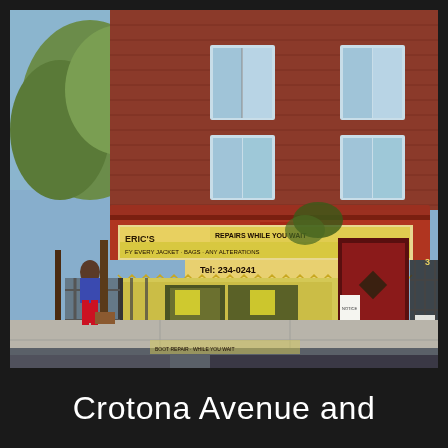[Figure (photo): Street-level photograph of a corner commercial building in the Bronx, New York. A multi-story red brick building occupies the background. The ground floor features a shop with a weathered red and yellow awning showing signage reading 'ERIC'S' and 'REPAIRS WHILE YOU WAIT' along with 'Tel: 234-0241'. The storefront has yellow painted walls, black iron gates, and a dark red/brown door on the right side. Trees are visible on the left and right sides of the building. A person in red pants is partially visible on the far left. The foreground shows a concrete sidewalk and street.]
Crotona Avenue and